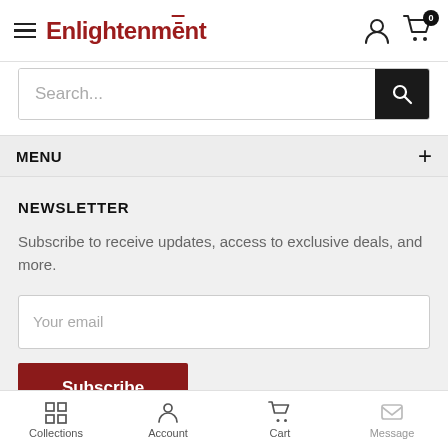Enlightenment
Search...
MENU
NEWSLETTER
Subscribe to receive updates, access to exclusive deals, and more.
Your email
Subscribe
Collections  Account  Cart  Message